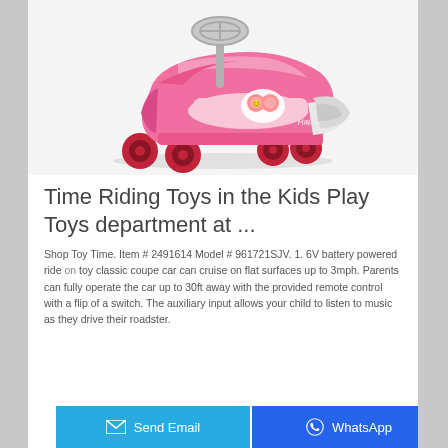[Figure (photo): Pink children's ride-on wiggle car toy with red wheels, a steering wheel on top, and a decorative character sticker on the seat. The toy is shown at an angle on a light background.]
Time Riding Toys in the Kids Play Toys department at ...
Shop Toy Time. Item # 2491614 Model # 961721SJV. 1. 6V battery powered ride on toy classic coupe car can cruise on flat surfaces up to 3mph. Parents can fully operate the car up to 30ft away with the provided remote control with a flip of a switch. The auxiliary input allows your child to listen to music as they drive their roadster.
Send Email   WhatsApp